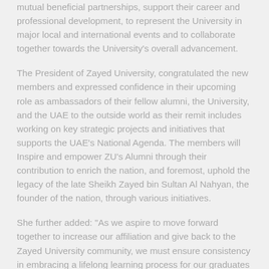mutual beneficial partnerships, support their career and professional development, to represent the University in major local and international events and to collaborate together towards the University's overall advancement.
The President of Zayed University, congratulated the new members and expressed confidence in their upcoming role as ambassadors of their fellow alumni, the University, and the UAE to the outside world as their remit includes working on key strategic projects and initiatives that supports the UAE's National Agenda. The members will Inspire and empower ZU's Alumni through their contribution to enrich the nation, and foremost, uphold the legacy of the late Sheikh Zayed bin Sultan Al Nahyan, the founder of the nation, through various initiatives.
She further added: "As we aspire to move forward together to increase our affiliation and give back to the Zayed University community, we must ensure consistency in embracing a lifelong learning process for our graduates and place it as a core pillar of ZU education mission, so that our graduates can continue to pursue their professional journeys and accelerate towards top positions in society."